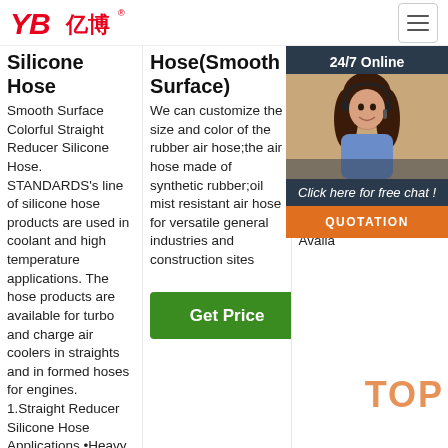[Figure (logo): YB亿博 logo in red italic text with registered trademark symbol]
[Figure (other): Hamburger menu button top right]
Silicone Hose
Smooth Surface Colorful Straight Reducer Silicone Hose. STANDARDS's line of silicone hose products are used in coolant and high temperature applications. The hose products are available for turbo and charge air coolers in straights and in formed hoses for engines. 1.Straight Reducer Silicone Hose Applications •Heavy
Hose(Smooth Surface)
We can customize the size and color of the rubber air hose;the air hose made of synthetic rubber;oil mist resistant air hose for versatile general industries and construction sites
[Figure (other): Green Get Price button]
11mm X 1m Blu
Det resi size Tem (35 Pro Wo Per Sili per Suitable for transport of Petroleum & Diesel Fuels - can be used for fuel lines, delivery, filler and breathers. Also Availa
[Figure (photo): 24/7 Online chat widget showing woman with headset, Click here for free chat text, and QUOTATION button]